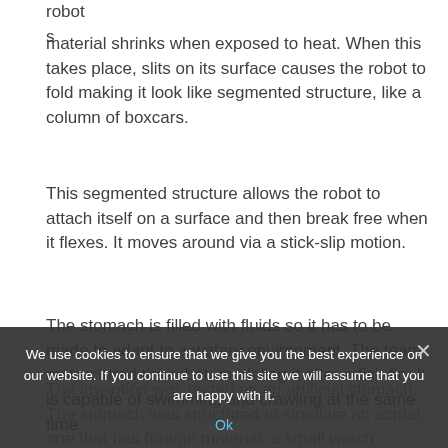robots
material shrinks when exposed to heat.  When this takes place, slits on its surface causes the robot to fold making it look like segmented structure, like a column of boxcars.
This segmented structure allows the robot to attach itself on a surface and then break free when it flexes. It moves around via a stick-slip motion.
The stomach is filled with fluids so it has to be made to adapt to a watery environment.  The team restructured the robot, modeling it after a fish fin.  It is capable of swimming and crawling at the same time.
The invention was tested on an artificial stomach.  The stomach was structured to simulate an actual one that has foreign material, a small watch battery that has
We use cookies to ensure that we give you the best experience on our website. If you continue to use this site we will assume that you are happy with it.